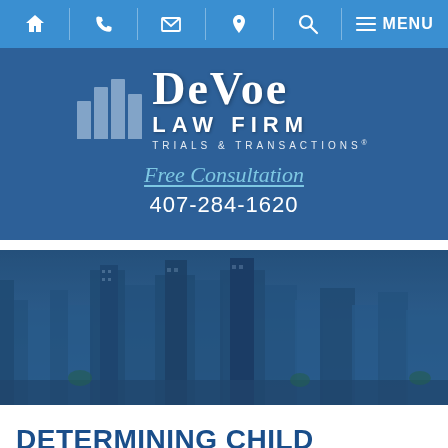[Figure (screenshot): Navigation bar with home, phone, email, location, search, and menu icons on blue background]
[Figure (logo): DeVoe Law Firm logo with four pillars icon, text 'DeVoe LAW FIRM TRIALS & TRANSACTIONS']
Free Consultation
407-284-1620
[Figure (photo): City skyline with tall buildings, blue-toned overlay]
DETERMINING CHILD SUPPORT WHEN A PARENT MAKES COMMISSION